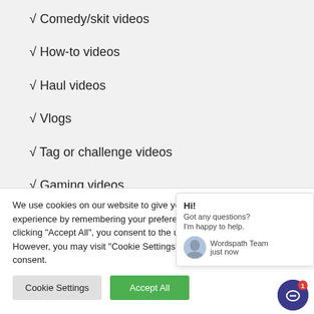√ Comedy/skit videos
√ How-to videos
√ Haul videos
√ Vlogs
√ Tag or challenge videos
√ Gaming videos
We use cookies on our website to give you the most relevant experience by remembering your preferences and repeat visits. By clicking "Accept All", you consent to the use of ALL the cookies. However, you may visit "Cookie Settings" to provide a controlled consent.
Hi! Got any questions? I'm happy to help. Wordspath Team just now